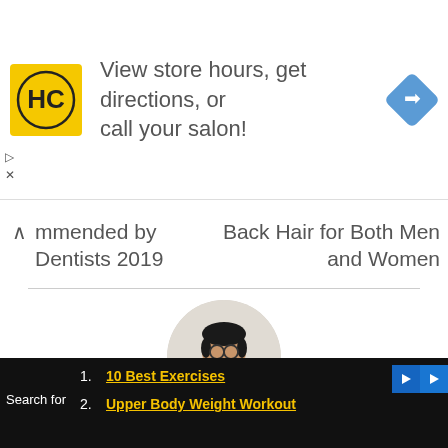[Figure (screenshot): Advertisement banner with HC hair salon logo (yellow background with black HC letters), text 'View store hours, get directions, or call your salon!', and a blue diamond navigation icon on the right.]
mmended by Dentists 2019
Back Hair for Both Men and Women
[Figure (photo): Circular profile photo of a young man wearing glasses and a grey suit jacket, adjusting his tie, against a light background.]
DEEPENDRA
https://thehust.com
[Figure (screenshot): Bottom advertisement bar with dark background, 'Search for' label and two links: '10 Best Exercises' and 'Upper Body Weight Workout']
10 Best Exercises
Upper Body Weight Workout